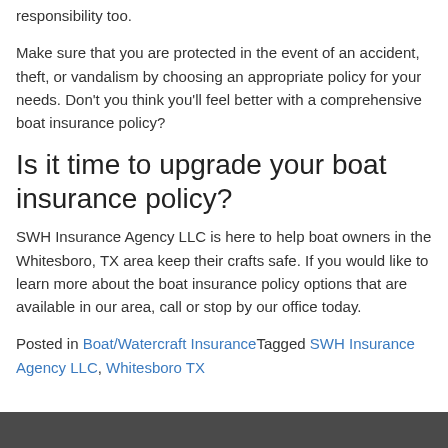responsibility too.
Make sure that you are protected in the event of an accident, theft, or vandalism by choosing an appropriate policy for your needs. Don't you think you'll feel better with a comprehensive boat insurance policy?
Is it time to upgrade your boat insurance policy?
SWH Insurance Agency LLC is here to help boat owners in the Whitesboro, TX area keep their crafts safe. If you would like to learn more about the boat insurance policy options that are available in our area, call or stop by our office today.
Posted in Boat/Watercraft Insurance Tagged SWH Insurance Agency LLC, Whitesboro TX